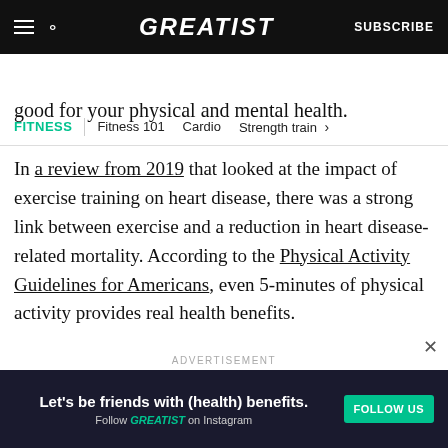GREATIST | SUBSCRIBE
FITNESS | Fitness 101  Cardio  Strength train >
good for your physical and mental health.
In a review from 2019 that looked at the impact of exercise training on heart disease, there was a strong link between exercise and a reduction in heart disease-related mortality. According to the Physical Activity Guidelines for Americans, even 5-minutes of physical activity provides real health benefits.
ADVERTISEMENT
Let's be friends with (health) benefits. Follow GREATIST on Instagram | FOLLOW US